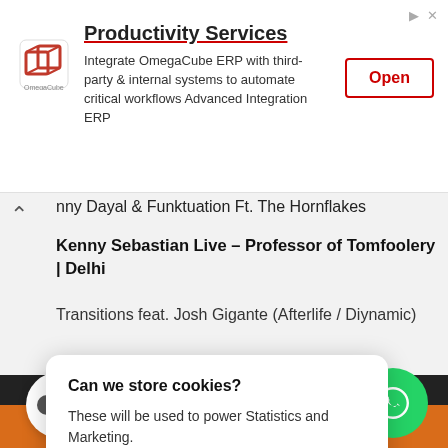[Figure (screenshot): Ad banner for OmegaCube ERP Productivity Services with logo, description text, and Open button]
Productivity Services
Integrate OmegaCube ERP with third-party & internal systems to automate critical workflows Advanced Integration ERP
nny Dayal & Funktuation Ft. The Hornflakes
Kenny Sebastian Live – Professor of Tomfoolery | Delhi
Transitions feat. Josh Gigante (Afterlife / Diynamic)
Can we store cookies?

These will be used to power Statistics and Marketing.
No, Customize
This is okay